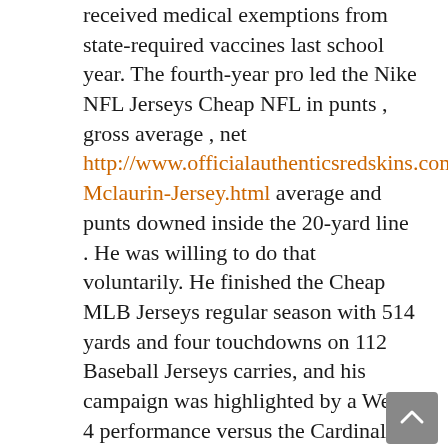received medical exemptions from state-required vaccines last school year. The fourth-year pro led the Nike NFL Jerseys Cheap NFL in punts , gross average , net http://www.officialauthenticsredskins.com/Terry-Mclaurin-Jersey.html average and punts downed inside the 20-yard line . He was willing to do that voluntarily. He finished the Cheap MLB Jerseys regular season with 514 yards and four touchdowns on 112 Baseball Jerseys carries, and his campaign was highlighted by a Week 4 performance versus the Cardinals, when he compiled 124 scrimmage Cheap MLB Jerseys yards Wholesale NFL Jerseys Supply and two scores. MOON TOWNSHIP, Pa. Mack took full advantage of the Packers' depleted offensive line, leading to his highest sack total of the campaign. The Packers could still address their tight-end ranks through the draft and or free agency, but Lewis tentatively slots back in as the No.
With no women's pro leagues to speak of, current Beauts like Babstock and Greco grew up with men's players as their hockey idols. A loss tonight for Charlotte would likely spell end of their quest. Matthews signed with the last Wednesday and quickly captured a key role in the team's receiver rotation.